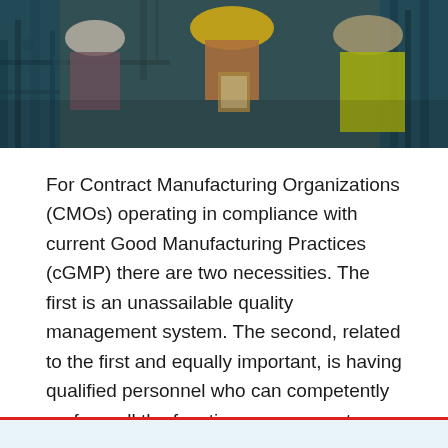[Figure (photo): Industrial/manufacturing workers in hard hats and safety vests inspecting equipment or reviewing documents in a factory setting]
For Contract Manufacturing Organizations (CMOs) operating in compliance with current Good Manufacturing Practices (cGMP) there are two necessities. The first is an unassailable quality management system. The second, related to the first and equally important, is having qualified personnel who can competently perform all the functions necessary to develop APIs for clinical trials and commercial manufacturing.